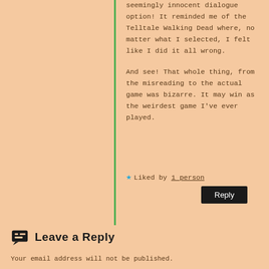seemingly innocent dialogue option! It reminded me of the Telltale Walking Dead where, no matter what I selected, I felt like I did it all wrong.

And see! That whole thing, from the misreading to the actual game was bizarre. It may win as the weirdest game I've ever played.
★ Liked by 1 person
Reply
Leave a Reply
Your email address will not be published. Required fields are marked *